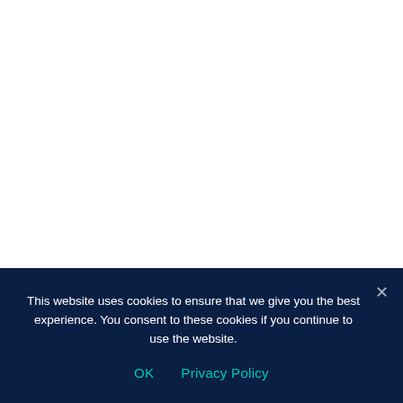This website uses cookies to ensure that we give you the best experience. You consent to these cookies if you continue to use the website.
OK    Privacy Policy